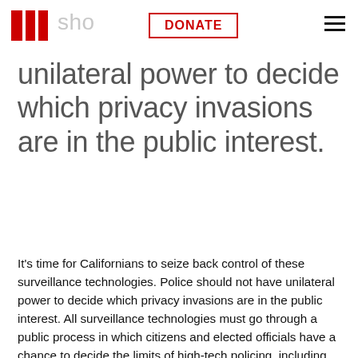EFF [DONATE] Police should not have [hamburger menu]
unilateral power to decide which privacy invasions are in the public interest.
It’s time for Californians to seize back control of these surveillance technologies. Police should not have unilateral power to decide which privacy invasions are in the public interest. All surveillance technologies must go through a public process in which citizens and elected officials have a chance to decide the limits of high-tech policing, including whether to acquire and use new spying tools in the